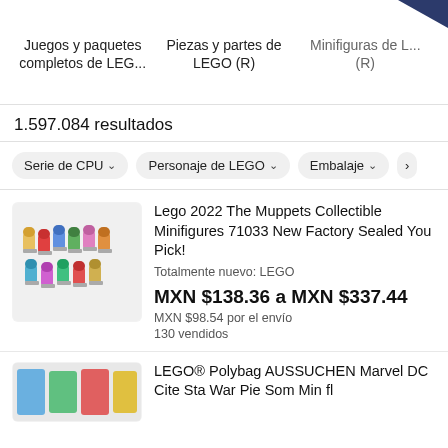[Figure (screenshot): Top of page showing a dark blue/navy shape partially visible at top right corner]
Juegos y paquetes completos de LEG...
Piezas y partes de LEGO (R)
Minifiguras de L... (R)
1.597.084 resultados
Serie de CPU ∨
Personaje de LEGO ∨
Embalaje ∨
[Figure (photo): Product photo showing multiple Muppets LEGO minifigures arranged together on white/light gray background]
Lego 2022 The Muppets Collectible Minifigures 71033 New Factory Sealed You Pick!
Totalmente nuevo: LEGO
MXN $138.36 a MXN $337.44
MXN $98.54 por el envío
130 vendidos
[Figure (photo): Partial product image visible at bottom left showing colorful LEGO sets]
LEGO® Polybag AUSSUCHEN Marvel DC Cite Sta War Pie Som Min fl